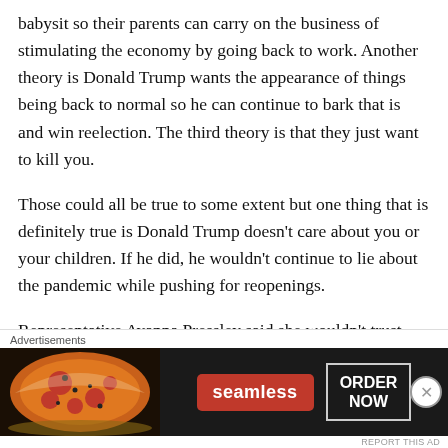babysit so their parents can carry on the business of stimulating the economy by going back to work. Another theory is Donald Trump wants the appearance of things being back to normal so he can continue to bark that is and win reelection. The third theory is that they just want to kill you.
Those could all be true to some extent but one thing that is definitely true is Donald Trump doesn’t care about you or your children. If he did, he wouldn’t continue to lie about the pandemic while pushing for reopenings.
Representative Ayanna Pressley said she wouldn’t trust Education Secretary Betsy DeVos with a houseplant let
[Figure (screenshot): Seamless food delivery advertisement banner showing pizza image on left, Seamless logo in red, and ORDER NOW button on dark background]